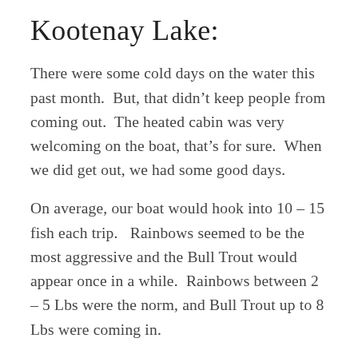Kootenay Lake:
There were some cold days on the water this past month.  But, that didn’t keep people from coming out.  The heated cabin was very welcoming on the boat, that’s for sure.  When we did get out, we had some good days.
On average, our boat would hook into 10 – 15 fish each trip.   Rainbows seemed to be the most aggressive and the Bull Trout would appear once in a while.  Rainbows between 2 – 5 Lbs were the norm, and Bull Trout up to 8 Lbs were coming in.
One of my favourite trips during the holidays